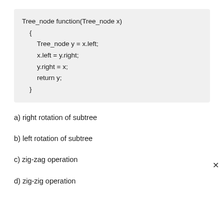Tree_node function(Tree_node x)
{
    Tree_node y = x.left;
    x.left = y.right;
    y.right = x;
    return y;
}
a) right rotation of subtree
b) left rotation of subtree
c) zig-zag operation
d) zig-zig operation